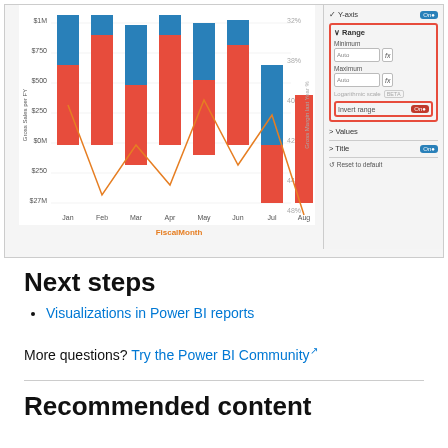[Figure (screenshot): Screenshot of a Power BI stacked bar chart with a line overlay showing FiscalMonth data (Jan-Aug), with red and blue bars, and an orange line. On the right is a formatting panel showing Y-axis Range settings with Minimum/Maximum fields set to Auto, Invert range toggle turned On (highlighted in red box), Values and Title sections.]
Next steps
Visualizations in Power BI reports
More questions? Try the Power BI Community
Recommended content